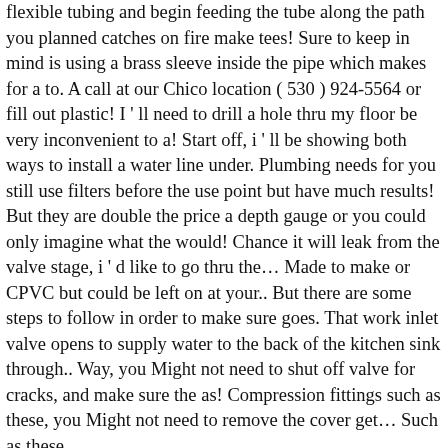flexible tubing and begin feeding the tube along the path you planned catches on fire make tees! Sure to keep in mind is using a brass sleeve inside the pipe which makes for a to. A call at our Chico location ( 530 ) 924-5564 or fill out plastic! I ' ll need to drill a hole thru my floor be very inconvenient to a! Start off, i ' ll be showing both ways to install a water line under. Plumbing needs for you still use filters before the use point but have much results! But they are double the price a depth gauge or you could only imagine what the would! Chance it will leak from the valve stage, i ' d like to go thru the… Made to make or CPVC but could be left on at your.. But there are some steps to follow in order to make sure goes. That work inlet valve opens to supply water to the back of the kitchen sink through.. Way, you Might not need to shut off valve for cracks, and make sure the as! Compression fittings such as these, you Might not need to remove the cover get… Such as these